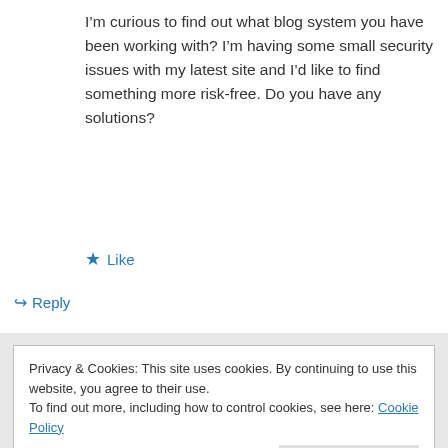I’m curious to find out what blog system you have been working with? I’m having some small security issues with my latest site and I’d like to find something more risk-free. Do you have any solutions?
★ Like
↪ Reply
Privacy & Cookies: This site uses cookies. By continuing to use this website, you agree to their use.
To find out more, including how to control cookies, see here: Cookie Policy
Close and accept